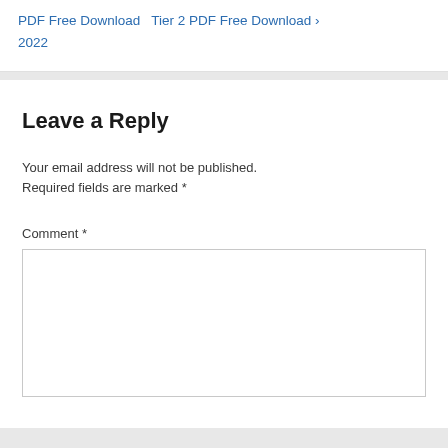PDF Free Download  Tier 2 PDF Free Download › 2022
Leave a Reply
Your email address will not be published. Required fields are marked *
Comment *